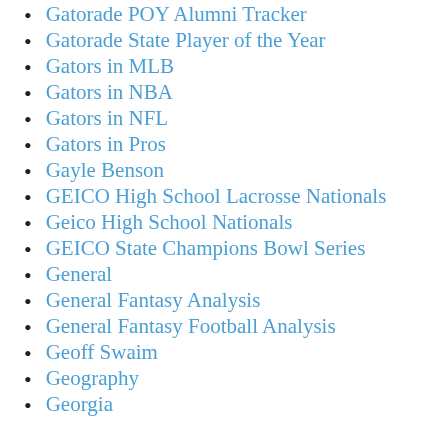Gatorade POY Alumni Tracker
Gatorade State Player of the Year
Gators in MLB
Gators in NBA
Gators in NFL
Gators in Pros
Gayle Benson
GEICO High School Lacrosse Nationals
Geico High School Nationals
GEICO State Champions Bowl Series
General
General Fantasy Analysis
General Fantasy Football Analysis
Geoff Swaim
Geography
Georgia